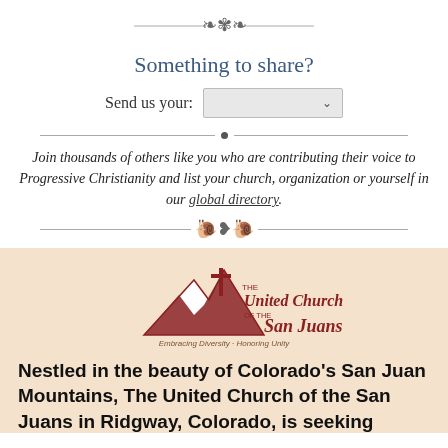[Figure (illustration): Decorative ornamental divider with swan/floral motif at the top]
Something to share?
Send us your: [dropdown]
[Figure (illustration): Horizontal divider line with a dot in the center]
Join thousands of others like you who are contributing their voice to Progressive Christianity and list your church, organization or yourself in our global directory.
[Figure (illustration): Decorative ornamental divider with bird/floral motif at the bottom]
[Figure (logo): United Church of the San Juans logo with mountain and cross imagery, tagline: Embracing Diversity - Honoring Unity]
Nestled in the beauty of Colorado's San Juan Mountains, The United Church of the San Juans in Ridgway, Colorado, is seeking